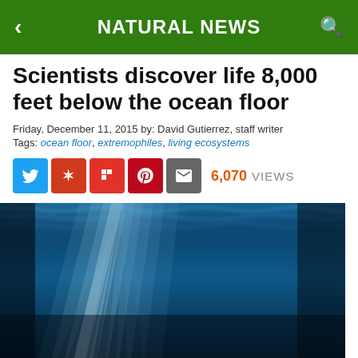NATURAL NEWS
Scientists discover life 8,000 feet below the ocean floor
Friday, December 11, 2015 by: David Gutierrez, staff writer
Tags: ocean floor, extremophiles, living ecosystems
6,070 VIEWS
[Figure (photo): Underwater ocean photograph showing sunlight rays penetrating deep blue water from above, viewed from below the surface]